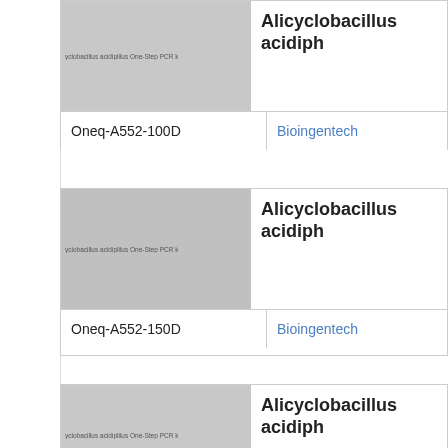[Figure (photo): Product image area for Alicyclobacillus acidiphilus One-Step PCR kit, catalog Oneq-A552-100D]
Alicyclobacillus acidiphilus One-Step PCR
| Catalog | Supplier |
| --- | --- |
| Oneq-A552-100D | Bioingentech |
[Figure (photo): Product image area for Alicyclobacillus acidiphilus One-Step PCR kit, catalog Oneq-A552-150D]
Alicyclobacillus acidiphilus One-Step PCR
| Catalog | Supplier |
| --- | --- |
| Oneq-A552-150D | Bioingentech |
[Figure (photo): Product image area for Alicyclobacillus acidiphilus One-Step PCR kit, third entry]
Alicyclobacillus acidiphilus One-Step PCR